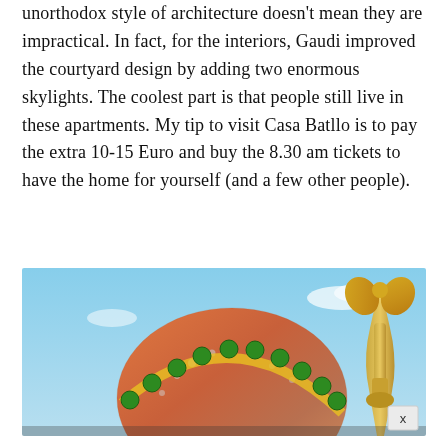unorthodox style of architecture doesn't mean they are impractical. In fact, for the interiors, Gaudi improved the courtyard design by adding two enormous skylights. The coolest part is that people still live in these apartments. My tip to visit Casa Batllo is to pay the extra 10-15 Euro and buy the 8.30 am tickets to have the home for yourself (and a few other people).
[Figure (photo): Photo of the rooftop of Casa Batllo by Gaudi in Barcelona, showing the distinctive dragon-scale mosaic roof with green ceramic ball decorations and a golden cross/finial against a blue sky]